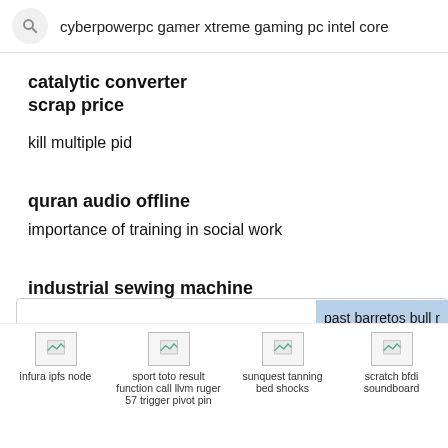cyberpowerpc gamer xtreme gaming pc intel core
catalytic converter scrap price
kill multiple pid
quran audio offline
importance of training in social work
industrial sewing machine
dropshipping artificial flowers
past barretos bull r
infura ipfs node
sport toto result function call llvm ruger 57 trigger pivot pin
sunquest tanning bed shocks
scratch bfdi soundboard